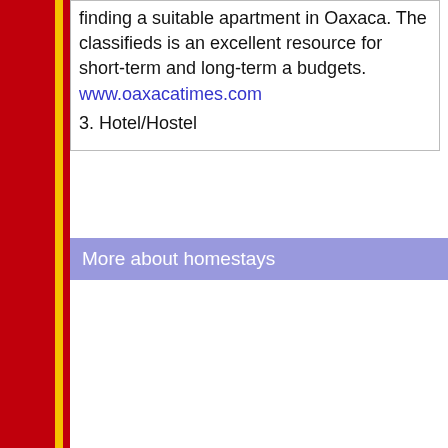finding a suitable apartment in Oaxaca. The classifieds is an excellent resource for short-term and long-term a budgets. www.oaxacatimes.com
3. Hotel/Hostel
More about homestays